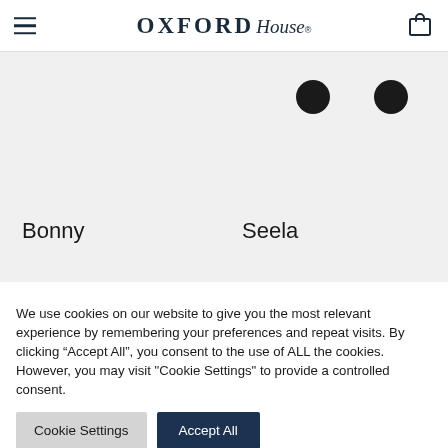Oxford House
[Figure (other): Product listing section showing two product items (Bonny and Seela) with circular color swatch dots on a light grey background]
Bonny
Seela
We use cookies on our website to give you the most relevant experience by remembering your preferences and repeat visits. By clicking “Accept All”, you consent to the use of ALL the cookies. However, you may visit "Cookie Settings" to provide a controlled consent.
Cookie Settings | Accept All